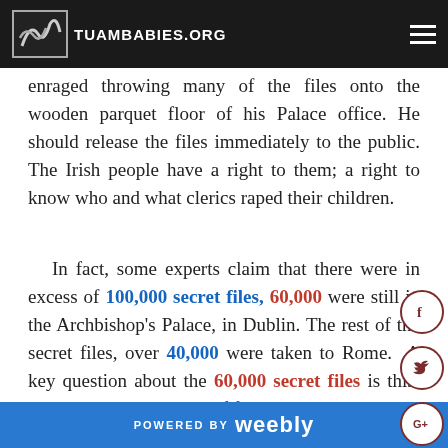TUAMBABIES.ORG
most of the files, according to people present and enraged throwing many of the files onto the wooden parquet floor of his Palace office. He should release the files immediately to the public. The Irish people have a right to them; a right to know who and what clerics raped their children.
In fact, some experts claim that there were in excess of 100,000 secret files, 60,000 were still in the Archbishop's Palace, in Dublin. The rest of the secret files, over 40,000 were taken to Rome. A key question about the 60,000 secret files is this: given this huge number of files, are these the secret files of all the Clergy in Ireland? If one thinks about it for a moment-
POWERED BY weebly